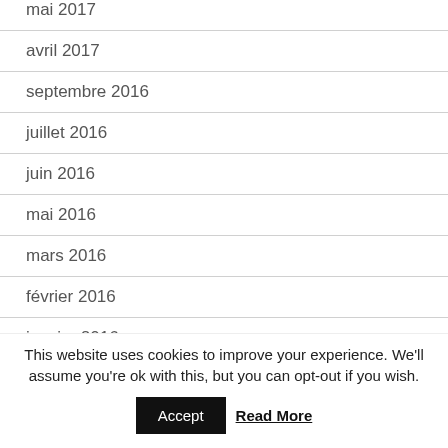mai 2017
avril 2017
septembre 2016
juillet 2016
juin 2016
mai 2016
mars 2016
février 2016
janvier 2016
décembre 2015
This website uses cookies to improve your experience. We'll assume you're ok with this, but you can opt-out if you wish.
Accept  Read More